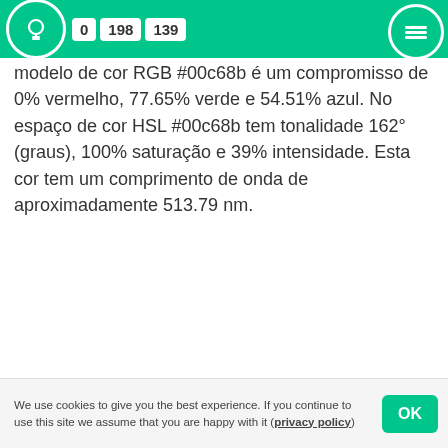0 198 139
modelo de cor RGB #00c68b é um compromisso de 0% vermelho, 77.65% verde e 54.51% azul. No espaço de cor HSL #00c68b tem tonalidade 162° (graus), 100% saturação e 39% intensidade. Esta cor tem um comprimento de onda de aproximadamente 513.79 nm.
We use cookies to give you the best experience. If you continue to use this site we assume that you are happy with it (privacy policy)